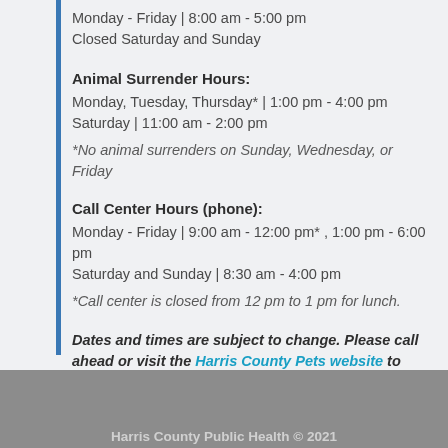Monday - Friday | 8:00 am - 5:00 pm
Closed Saturday and Sunday
Animal Surrender Hours:
Monday, Tuesday, Thursday* | 1:00 pm - 4:00 pm
Saturday | 11:00 am - 2:00 pm
*No animal surrenders on Sunday, Wednesday, or Friday
Call Center Hours (phone):
Monday - Friday | 9:00 am - 12:00 pm* , 1:00 pm - 6:00 pm
Saturday and Sunday | 8:30 am - 4:00 pm
*Call center is closed from 12 pm to 1 pm for lunch.
Dates and times are subject to change. Please call ahead or visit the Harris County Pets website to confirm hours - especially for animal surrenders.
Harris County Public Health © 2021